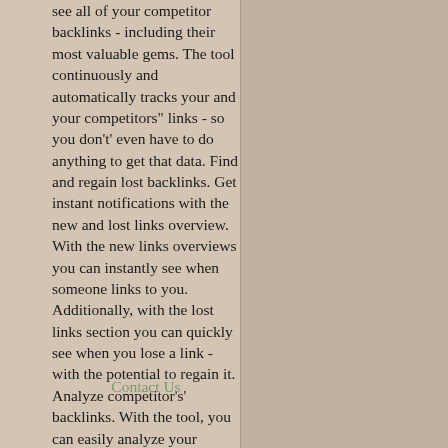see all of your competitor backlinks - including their most valuable gems. The tool continuously and automatically tracks your and your competitors" links - so you don't' even have to do anything to get that data. Find and regain lost backlinks. Get instant notifications with the new and lost links overview. With the new links overviews you can instantly see when someone links to you. Additionally, with the lost links section you can quickly see when you lose a link - with the potential to regain it. Analyze competitor's' backlinks. With the tool, you can easily analyze your competitors" backlinks profile and see what's' working for them.
Contact Us